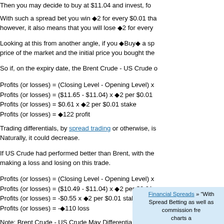Then you may decide to buy at $11.04 and invest, fo
With such a spread bet you win ◆‹2 for every $0.01 th however, it also means that you will lose ◆‹2 for every
Looking at this from another angle, if you ◆‹Buy◆› a sp price of the market and the initial price you bought the
So if, on the expiry date, the Brent Crude - US Crude o
Profits (or losses) = (Closing Level - Opening Level) x
Profits (or losses) = ($11.65 - $11.04) x ◆‹2 per $0.01
Profits (or losses) = $0.61 x ◆‹2 per $0.01 stake
Profits (or losses) = ◆‹2122 profit
Trading differentials, by spread trading or otherwise, is Naturally, it could decrease.
If US Crude had performed better than Brent, with the making a loss and losing on this trade.
Profits (or losses) = (Closing Level - Opening Level) x
Profits (or losses) = ($10.49 - $11.04) x ◆‹2 per $0.01
Profits (or losses) = -$0.55 x ◆‹2 per $0.01 stake
Profits (or losses) = -◆‹2110 loss
Note: Brent Crude - US Crude May Differential market
Financial Spreads » "With Spread Betting as well as commission free charts a